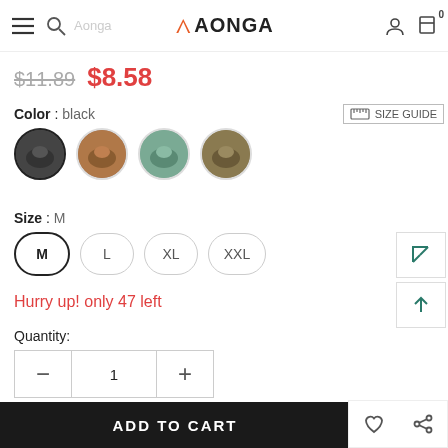AONGA — navigation bar with menu, search, logo, user, cart (0)
$11.89  $8.58
Color : black
SIZE GUIDE
[Figure (photo): Four circular color swatch product thumbnails showing underwear in black, brown, teal/green, and olive colors]
Size : M
Size options: M (selected), L, XL, XXL
Hurry up! only 47 left
Quantity:
Quantity control: minus, 1, plus
Subtotal: $8.58
ADD TO CART